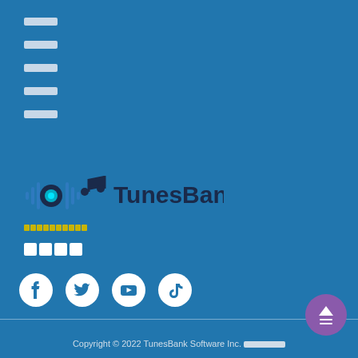████
████
████
████
████
[Figure (logo): TunesBank logo with music note and sound wave icon in dark blue and cyan, followed by text 'TunesBank']
██████████
████
[Figure (infographic): Four social media icons (Facebook, Twitter, YouTube, TikTok) as white circles on blue background]
Copyright © 2022 TunesBank Software Inc. ███████